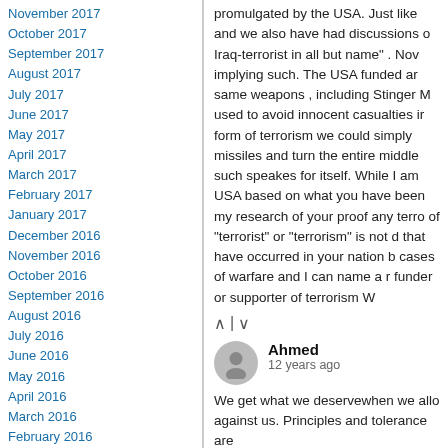November 2017
October 2017
September 2017
August 2017
July 2017
June 2017
May 2017
April 2017
March 2017
February 2017
January 2017
December 2016
November 2016
October 2016
September 2016
August 2016
July 2016
June 2016
May 2016
April 2016
March 2016
February 2016
January 2016
December 2015
November 2015
October 2015
September 2015
August 2015
July 2015
June 2015
May 2015
April 2015
promulgated by the USA. Just like and we also have had discussions o Iraq-terrorist in all but name" . Nov implying such. The USA funded ar same weapons , including Stinger M used to avoid innocent casualties ir form of terrorism we could simply missiles and turn the entire middle such speakes for itself. While I am USA based on what you have been my research of your proof any terro of "terrorist" or "terrorism" is not d that have occurred in your nation b cases of warfare and I can name a r funder or supporter of terrorism W
Ahmed
12 years ago
We get what we deservewhen we allo against us. Principles and tolerance are